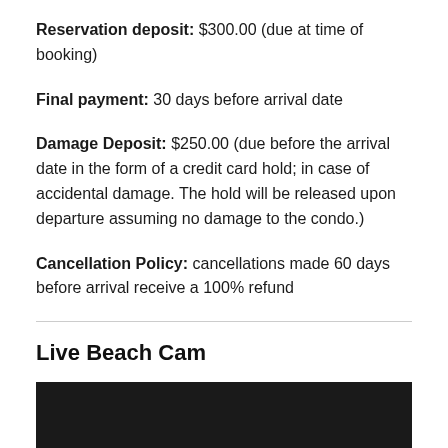Reservation deposit: $300.00 (due at time of booking)
Final payment: 30 days before arrival date
Damage Deposit: $250.00 (due before the arrival date in the form of a credit card hold; in case of accidental damage. The hold will be released upon departure assuming no damage to the condo.)
Cancellation Policy: cancellations made 60 days before arrival receive a 100% refund
Live Beach Cam
[Figure (photo): Dark/black image area showing a live beach cam feed]